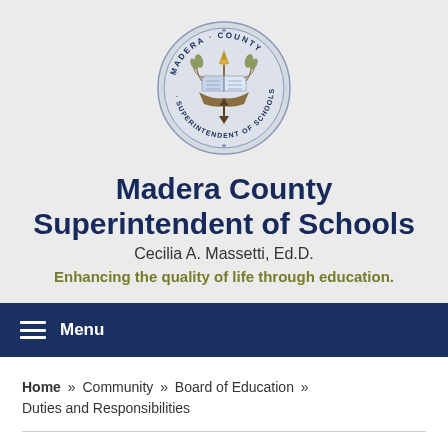[Figure (logo): Circular seal of Madera County Superintendent of Schools featuring an open book, wheat stalks, and text reading MADERA COUNTY · SUPERINTENDENT OF SCHOOLS]
Madera County Superintendent of Schools
Cecilia A. Massetti, Ed.D.
Enhancing the quality of life through education.
Menu
Home » Community » Board of Education » Duties and Responsibilities